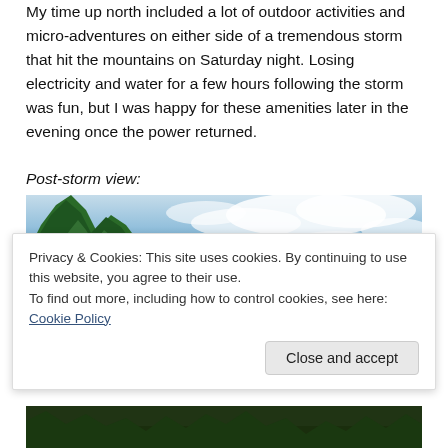My time up north included a lot of outdoor activities and micro-adventures on either side of a tremendous storm that hit the mountains on Saturday night. Losing electricity and water for a few hours following the storm was fun, but I was happy for these amenities later in the evening once the power returned.
Post-storm view:
[Figure (photo): Wide panoramic photo of a post-storm sky with blue sky and wispy clouds, with green conifer trees visible on the left and center of the frame.]
Privacy & Cookies: This site uses cookies. By continuing to use this website, you agree to their use.
To find out more, including how to control cookies, see here: Cookie Policy
Close and accept
[Figure (photo): Bottom portion of another outdoor photo showing dark forest/trees at bottom of page.]